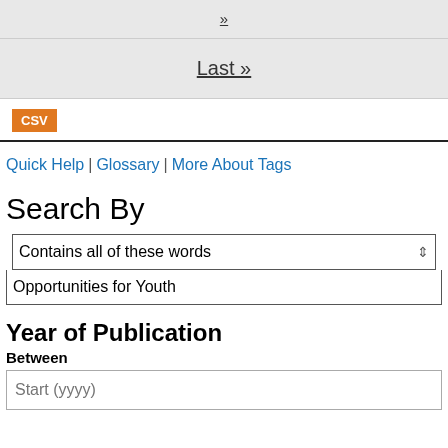»
Last »
CSV
Quick Help | Glossary | More About Tags
Search By
Contains all of these words
Opportunities for Youth
Year of Publication
Between
Start (yyyy)